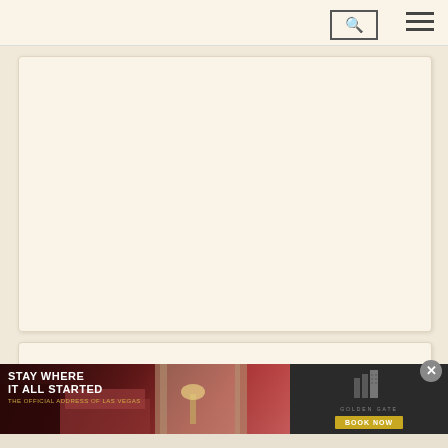[Figure (screenshot): Website navigation bar with search icon (magnifying glass in a box) and hamburger menu (three horizontal lines) on the right side, on a cream/beige background]
[Figure (screenshot): Large empty cream/beige content card placeholder area]
[Figure (screenshot): Small empty cream/beige content card placeholder]
[Figure (screenshot): Smaller empty cream/beige content card placeholder]
[Figure (photo): Advertisement banner for Golden Gate hotel Las Vegas. Left side shows hotel room photo with text overlay: 'STAY WHERE IT ALL STARTED' and 'THE OFFICIAL ADDRESS OF LAS VEGAS' in gold text. Right side shows dark background with hotel building logo icon and 'GOLDEN GATE' text, plus a gold 'BOOK NOW' button. A circular close (X) button appears in the upper right of the ad.]